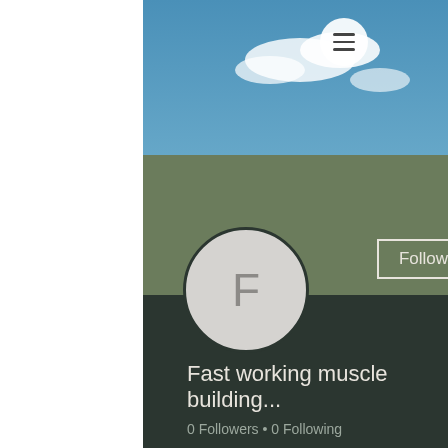[Figure (screenshot): Mobile app profile page screenshot showing a user profile with sky/mountain background, olive header, avatar circle with letter F, Follow button, username 'Fast working muscle building...', follower counts, and Profile section with join date.]
Fast working muscle building...
0 Followers • 0 Following
Profile
Join date: May 17, 2022